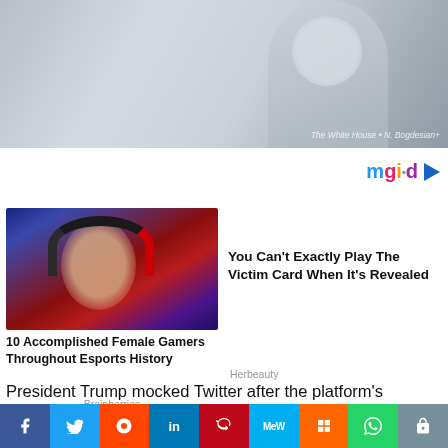[Figure (photo): Top portion of a news video screenshot showing a person in a suit with a blue tie, with text overlay at the bottom]
[Figure (logo): mgid logo with colorful letters and a play button triangle]
[Figure (photo): A female gamer wearing red and black headphones, looking intensely at a screen, seated in a gaming chair]
10 Accomplished Female Gamers Throughout Esports History
Brainberries
You Can't Exactly Play The Victim Card When It's Revealed
Herbeauty
President Trump mocked Twitter after the platform's
[Figure (infographic): Social media sharing buttons bar: Facebook, Twitter, Reddit, LinkedIn, Pinterest, MeWe, Mix, WhatsApp, Share]